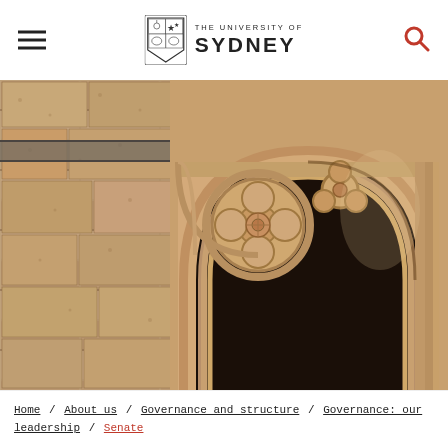THE UNIVERSITY OF SYDNEY
[Figure (photo): Close-up photograph of ornate Gothic sandstone archway with floral tracery carving at the University of Sydney, showing detailed stonework with a quatrefoil flower design and curved arch moldings.]
Home / About us / Governance and structure / Governance: our leadership / Senate